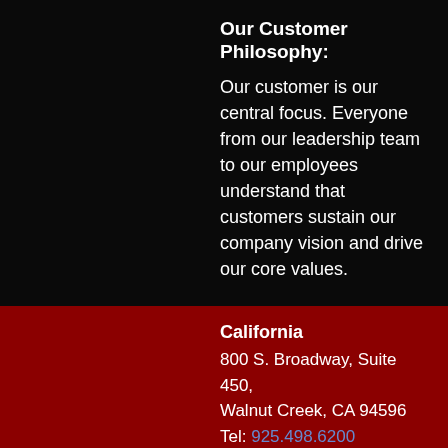Our Customer Philosophy:
Our customer is our central focus. Everyone from our leadership team to our employees understand that customers sustain our company vision and drive our core values.
California
800 S. Broadway, Suite 450,
Walnut Creek, CA 94596
Tel: 925.498.6200
California
220 Montgomery Street,
Suite 1010,
San Francisco, CA 94104
This website or its third-party tools process personal data. In case of sale of your personal information, you may opt out by using the link Do not sell my personal information.